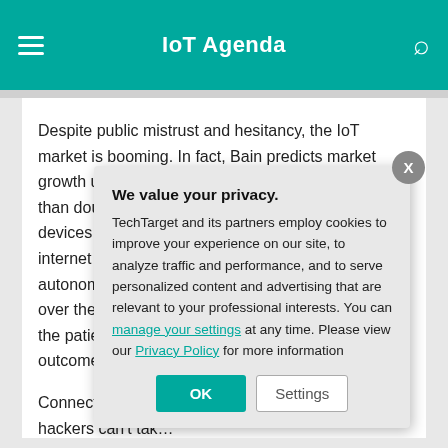IoT Agenda
Despite public mistrust and hesitancy, the IoT market is booming. In fact, Bain predicts market growth up to $520 billion by 2021 — which is more than double what was spent in 2017. These new devices are even more innovative and c… internet than tho… autonomous veh… over the airwav… the patient and d… outcomes, the im…
Connected prod… hackers can't ta… can turn from he… the same Bain s… businesses mor…
We value your privacy.
TechTarget and its partners employ cookies to improve your experience on our site, to analyze traffic and performance, and to serve personalized content and advertising that are relevant to your professional interests. You can manage your settings at any time. Please view our Privacy Policy for more information